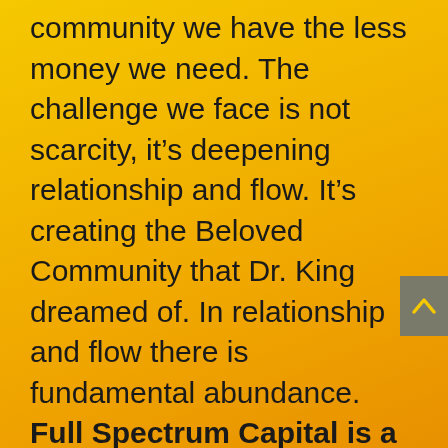community we have the less money we need. The challenge we face is not scarcity, it's deepening relationship and flow. It's creating the Beloved Community that Dr. King dreamed of. In relationship and flow there is fundamental abundance. Full Spectrum Capital is a way to direct our collective wealth toward...